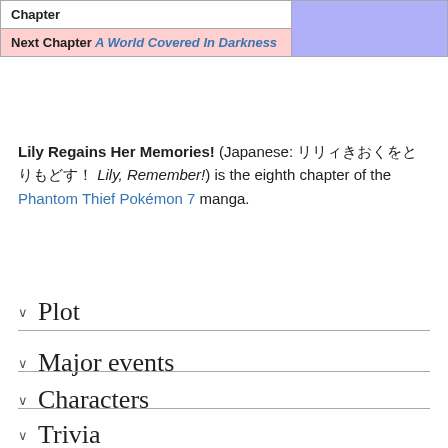| Chapter |  |
| --- | --- |
| Next Chapter A World Covered In Darkness |  |
Lily Regains Her Memories! (Japanese: リリィきおくをとりもどす！ Lily, Remember!) is the eighth chapter of the Phantom Thief Pokémon 7 manga.
Plot
Major events
Characters
Trivia